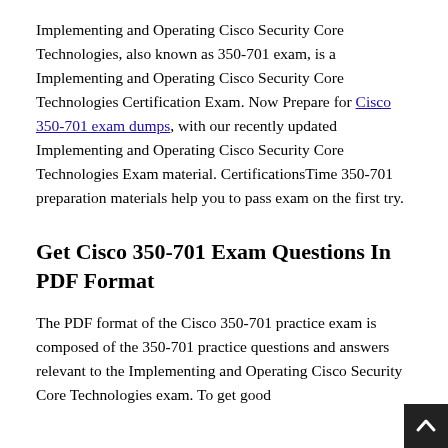Implementing and Operating Cisco Security Core Technologies, also known as 350-701 exam, is a Implementing and Operating Cisco Security Core Technologies Certification Exam. Now Prepare for Cisco 350-701 exam dumps, with our recently updated Implementing and Operating Cisco Security Core Technologies Exam material. CertificationsTime 350-701 preparation materials help you to pass exam on the first try.
Get Cisco 350-701 Exam Questions In PDF Format
The PDF format of the Cisco 350-701 practice exam is composed of the 350-701 practice questions and answers relevant to the Implementing and Operating Cisco Security Core Technologies exam. To get good marks, you should be well of the 350-701...